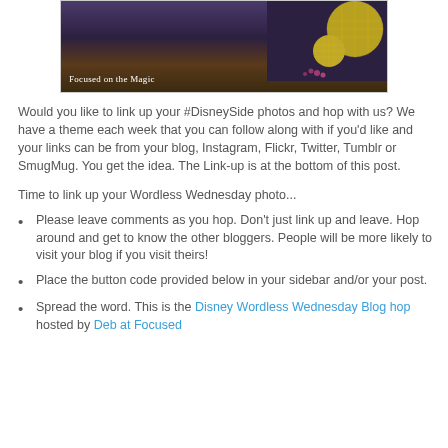[Figure (photo): Photo of disco ball decorations shaped like Mickey Mouse ears on a dark background, with text overlay reading 'Focused on the Magic']
Would you like to link up your #DisneySide photos and hop with us? We have a theme each week that you can follow along with if you'd like and your links can be from your blog, Instagram, Flickr, Twitter, Tumblr or SmugMug. You get the idea. The Link-up is at the bottom of this post.
Time to link up your Wordless Wednesday photo...
Please leave comments as you hop. Don't just link up and leave. Hop around and get to know the other bloggers. People will be more likely to visit your blog if you visit theirs!
Place the button code provided below in your sidebar and/or your post.
Spread the word. This is the Disney Wordless Wednesday Blog hop hosted by Deb at Focused